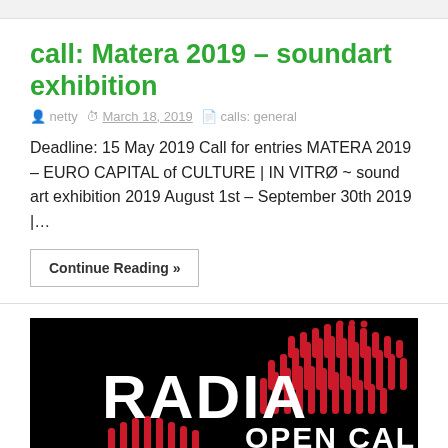call: Matera 2019 – soundart exhibition
netty   March 18, 2019   calls: general
Deadline: 15 May 2019 Call for entries MATERA 2019 – EURO CAPITAL of CULTURE | IN VITRØ ~ sound art exhibition 2019 August 1st – September 30th 2019 |…
Continue Reading »
[Figure (logo): RADIA OPEN CALL banner — black background with red signal/sound wave graphic dots and dashes to the right of white bold text reading RADIA, and white bold text reading OPEN CALL below the graphic]